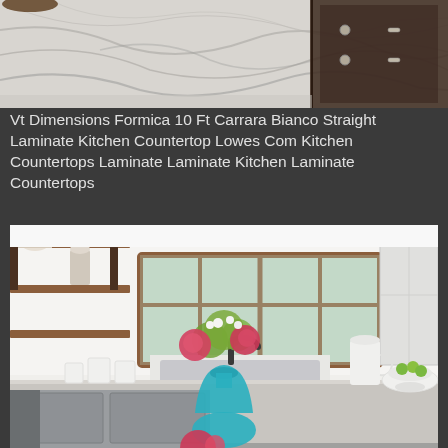[Figure (photo): Close-up photo of a white marble-look laminate countertop with dark veining. Dark wood cabinetry with silver hardware visible on the right side. The countertop has a smooth, glossy surface.]
Vt Dimensions Formica 10 Ft Carrara Bianco Straight Laminate Kitchen Countertop Lowes Com Kitchen Countertops Laminate Laminate Kitchen Laminate Countertops
[Figure (photo): Kitchen interior photo showing a gray island with a light gray/white quartz countertop. A teal glass vase with pink and green flowers sits on the island. In the background: white cabinets, wood-framed windows, open shelving, and a white decorative pitcher and bowl with limes. The kitchen has a bright, airy feel.]